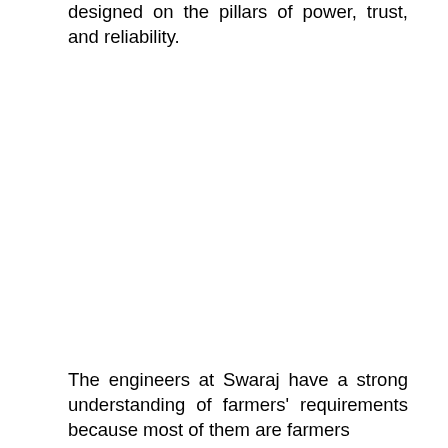designed on the pillars of power, trust, and reliability.
The engineers at Swaraj have a strong understanding of farmers' requirements because most of them are farmers